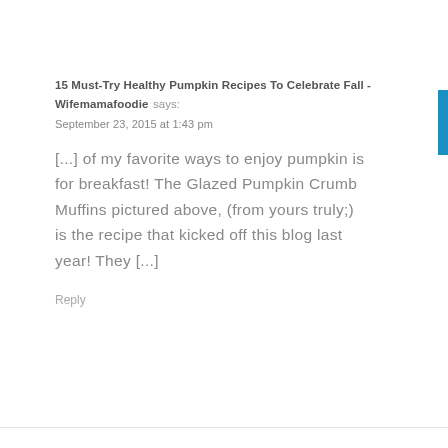15 Must-Try Healthy Pumpkin Recipes To Celebrate Fall - Wifemamafoodie says:
September 23, 2015 at 1:43 pm
[...] of my favorite ways to enjoy pumpkin is for breakfast! The Glazed Pumpkin Crumb Muffins pictured above, (from yours truly;) is the recipe that kicked off this blog last year! They [...]
Reply